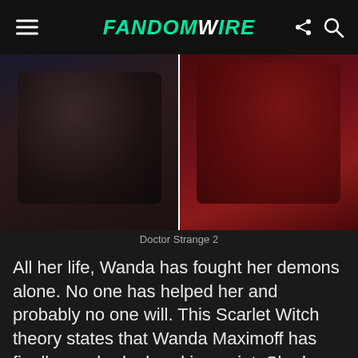FandomWire
[Figure (photo): Split image showing two Marvel characters side by side — Doctor Strange on the left in dark attire and Scarlet Witch on the right in red — divided by a vertical white line]
Doctor Strange 2
All her life, Wanda has fought her demons alone. No one has helped her and probably no one will. This Scarlet Witch theory states that Wanda Maximoff has finally reached a breaking point. She has had her “One Bad Bay”. Now the Scarlet Witch is going to push back, dish out the same punishment she has been enduring throughout her life. After sacrificing so much, Wanda intends to take